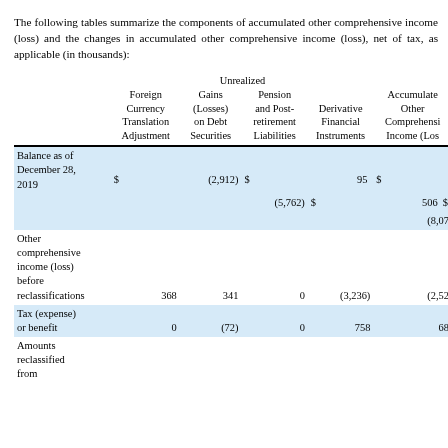The following tables summarize the components of accumulated other comprehensive income (loss) and the changes in accumulated other comprehensive income (loss), net of tax, as applicable (in thousands):
|  | Foreign Currency Translation Adjustment | Unrealized Gains (Losses) on Debt Securities | Pension and Post-retirement Liabilities | Derivative Financial Instruments | Accumulated Other Comprehensive Income (Loss) |
| --- | --- | --- | --- | --- | --- |
| Balance as of December 28, 2019 | $  (2,912) | $  95 | $  (5,762) | $  506 | $  (8,07 |
| Other comprehensive income (loss) before reclassifications | 368 | 341 | 0 | (3,236) | (2,52 |
| Tax (expense) or benefit | 0 | (72) | 0 | 758 | 68 |
| Amounts reclassified from |  |  |  |  |  |